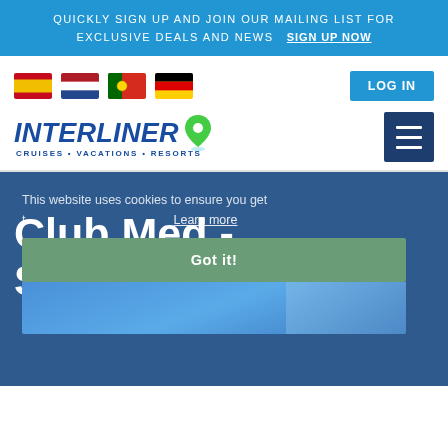QUICKLY SIGN UP AND JOIN OUR MAILING LIST FOR EXCLUSIVE DEALS AND NEWS  SIGN UP NOW
[Figure (other): Row of four country flags: Spain, Netherlands, Portugal, Germany]
[Figure (logo): Interliner Cruises Vacations Resorts logo with map pin icon]
This website uses cookies to ensure you get the best experience on our website. Learn more
Club Med - Sandpiper
[Figure (other): Got it button (cookie consent) and partial photo of blue sky and building at Sandpiper resort]